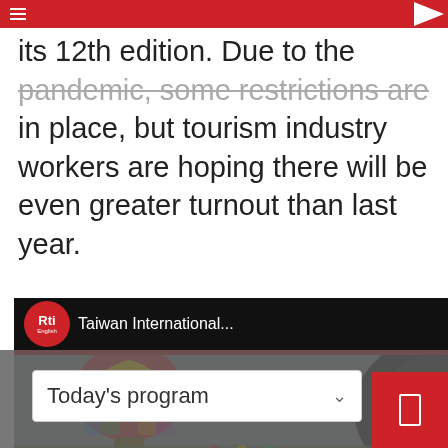RTI English navigation bar
its 12th edition. Due to the pandemic, some restrictions are in place, but tourism industry workers are hoping there will be even greater turnout than last year.
[Figure (screenshot): YouTube-style embedded video player showing RTI English channel with title 'Taiwan International...' and thumbnail image showing hot air balloon festival with large inflatable bear mascot and Hello Kitty balloons on a grassy field.]
Today's program